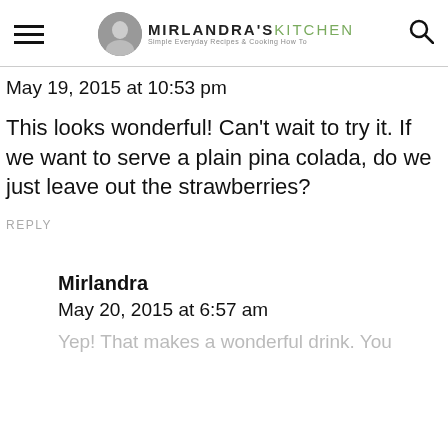MIRLANDRA'S KITCHEN
May 19, 2015 at 10:53 pm
This looks wonderful! Can't wait to try it. If we want to serve a plain pina colada, do we just leave out the strawberries?
REPLY
Mirlandra
May 20, 2015 at 6:57 am
Yep! That makes a wonderful drink. You